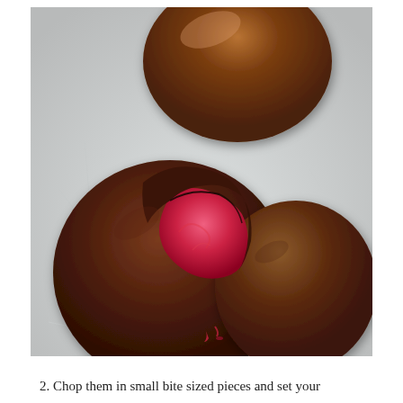[Figure (photo): Close-up photo of chocolate-covered cherry candies on crinkled wax paper. One candy in the foreground is broken open, revealing a bright pink/red cherry filling inside a dark chocolate shell. Another whole dark chocolate ball is visible behind it, and a third lighter milk chocolate ball is partially visible at the top.]
2. Chop them in small bite sized pieces and set your